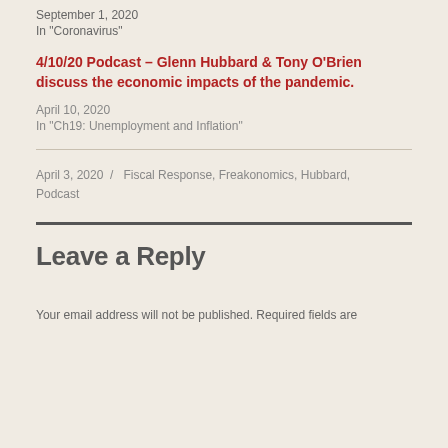September 1, 2020
In "Coronavirus"
4/10/20 Podcast – Glenn Hubbard & Tony O'Brien discuss the economic impacts of the pandemic.
April 10, 2020
In "Ch19: Unemployment and Inflation"
April 3, 2020  /  Fiscal Response, Freakonomics, Hubbard, Podcast
Leave a Reply
Your email address will not be published. Required fields are